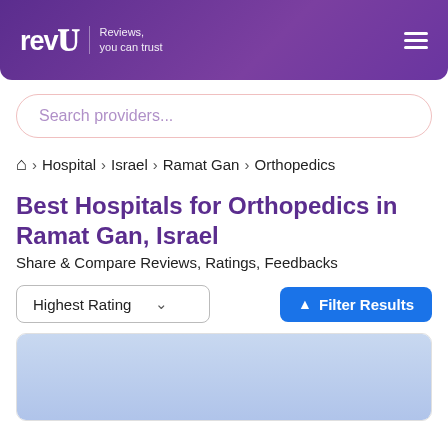[Figure (logo): revU logo with tagline 'Reviews, you can trust' on purple gradient header with hamburger menu icon]
Search providers...
🏠 › Hospital › Israel › Ramat Gan › Orthopedics
Best Hospitals for Orthopedics in Ramat Gan, Israel
Share & Compare Reviews, Ratings, Feedbacks
Highest Rating  ∨     Filter Results
[Figure (photo): Light blue placeholder image at the bottom of the page inside a card]